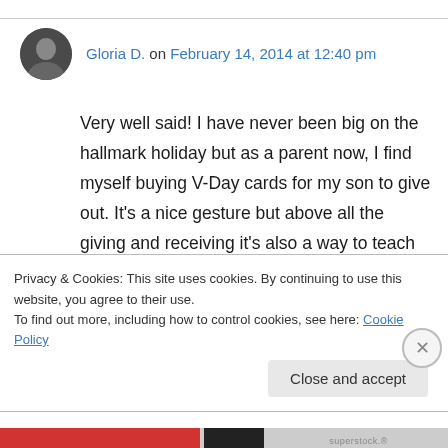[Figure (photo): Circular avatar photo of a woman with dark hair]
Gloria D. on February 14, 2014 at 12:40 pm
Very well said! I have never been big on the hallmark holiday but as a parent now, I find myself buying V-Day cards for my son to give out. It's a nice gesture but above all the giving and receiving it's also a way to teach him gratitude and empathy. At a tender age of five there's nothing more important than to learn these things. no one wants to have their kids
Privacy & Cookies: This site uses cookies. By continuing to use this website, you agree to their use.
To find out more, including how to control cookies, see here: Cookie Policy
Close and accept